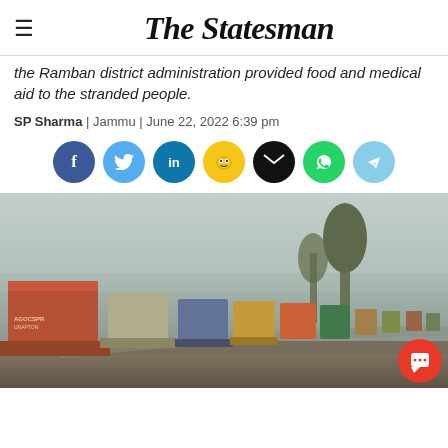The Statesman
the Ramban district administration provided food and medical aid to the stranded people.
SP Sharma | Jammu | June 22, 2022 6:39 pm
[Figure (other): Social media sharing icons: Facebook, Twitter, LinkedIn, Koo, Email, WhatsApp, Telegram]
[Figure (photo): A queue of stranded trucks and vehicles on a mountain road in misty conditions, with a large red container truck in the foreground.]